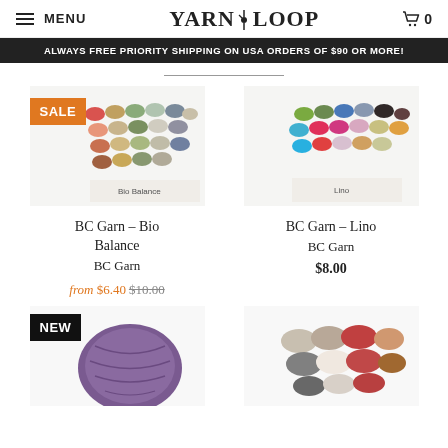MENU | YARN LOOP | Cart 0
ALWAYS FREE PRIORITY SHIPPING ON USA ORDERS OF $90 OR MORE!
[Figure (photo): Yarn skeins for BC Garn Bio Balance, with SALE badge overlay]
BC Garn – Bio Balance
BC Garn
from $6.40 $10.00
[Figure (photo): Yarn skeins for BC Garn Lino]
BC Garn – Lino
BC Garn
$8.00
[Figure (photo): Purple yarn ball with NEW badge]
[Figure (photo): Assorted yarn skeins in neutral and warm tones]